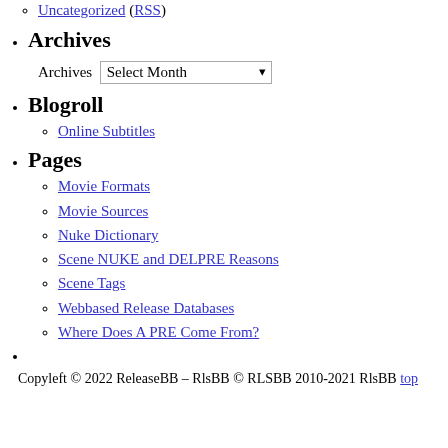Uncategorized (RSS)
Archives
Archives  Select Month
Blogroll
Online Subtitles
Pages
Movie Formats
Movie Sources
Nuke Dictionary
Scene NUKE and DELPRE Reasons
Scene Tags
Webbased Release Databases
Where Does A PRE Come From?
Copyleft © 2022 ReleaseBB – RlsBB © RLSBB 2010-2021 RlsBB top